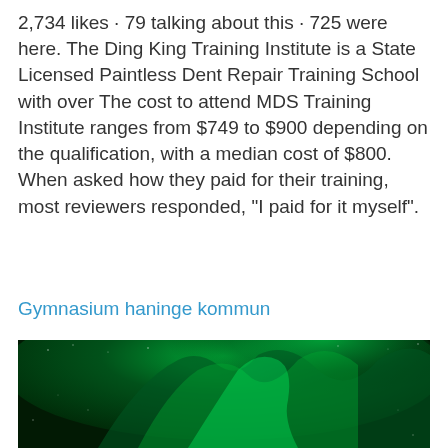2,734 likes · 79 talking about this · 725 were here. The Ding King Training Institute is a State Licensed Paintless Dent Repair Training School with over The cost to attend MDS Training Institute ranges from $749 to $900 depending on the qualification, with a median cost of $800. When asked how they paid for their training, most reviewers responded, "I paid for it myself".
Gymnasium haninge kommun
[Figure (photo): A photograph of the aurora borealis (northern lights) — bright green curtains of light over a dark night sky with visible stars.]